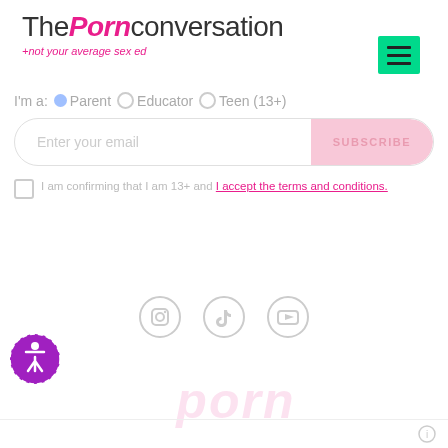[Figure (logo): ThePorn conversation +not your average sex ed logo with pink stylized text]
[Figure (other): Green hamburger menu button in top right corner]
I'm a:  ●Parent  ○ Educator  ○Teen (13+)
[Figure (screenshot): Email subscription form with Enter your email input and SUBSCRIBE button]
I am confirming that I am 13+ and I accept the terms and conditions.
[Figure (other): Social media icons: Instagram, TikTok, YouTube]
[Figure (other): Accessibility icon button (wheelchair symbol in purple circle)]
porn (watermark)